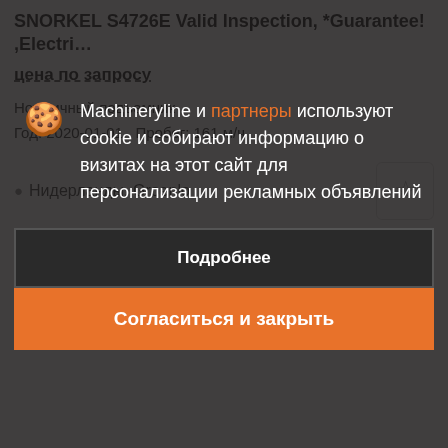SNORKEL S4726E Valid Inspection, *Guarantee! ,Electri…
цена по запросу
Ножничный подъемник
Год: 2020-01-01   Пробег: 161 м/ч
Нидерланды, Groenlo
[Figure (screenshot): Two thumbnail images of machinery/equipment partially visible below the listing card, cut off by the cookie consent overlay.]
Machineryline и партнеры используют cookie и собирают информацию о визитах на этот сайт для персонализации рекламных объявлений
Подробнее
Согласиться и закрыть
SNORKEL S4726E Valid Inspection, *Guarantee! ,Electri…
це…
Ножничный подъемник
Год: 2020-01-01   Пробег: 161 м/ч